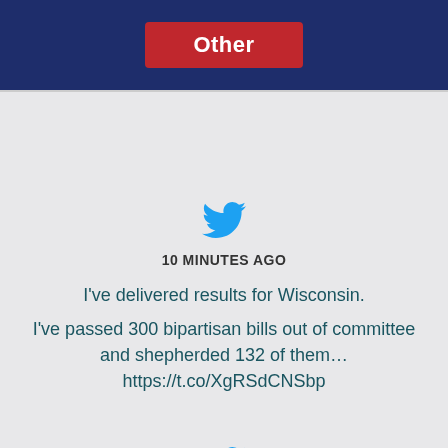Other
[Figure (logo): Twitter bird icon in blue]
10 MINUTES AGO
I've delivered results for Wisconsin.

I've passed 300 bipartisan bills out of committee and shepherded 132 of them… https://t.co/XgRSdCNSbp
[Figure (logo): Twitter bird icon in blue]
10 HOURS AGO